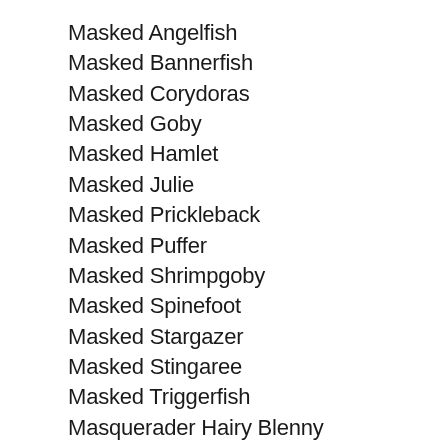Masked Angelfish
Masked Bannerfish
Masked Corydoras
Masked Goby
Masked Hamlet
Masked Julie
Masked Prickleback
Masked Puffer
Masked Shrimpgoby
Masked Spinefoot
Masked Stargazer
Masked Stingaree
Masked Triggerfish
Masquerader Hairy Blenny